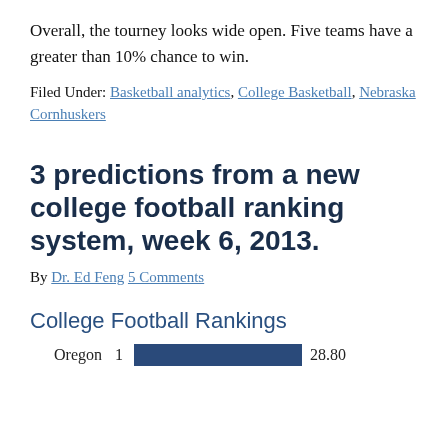Overall, the tourney looks wide open. Five teams have a greater than 10% chance to win.
Filed Under: Basketball analytics, College Basketball, Nebraska Cornhuskers
3 predictions from a new college football ranking system, week 6, 2013.
By Dr. Ed Feng 5 Comments
College Football Rankings
[Figure (bar-chart): College Football Rankings]